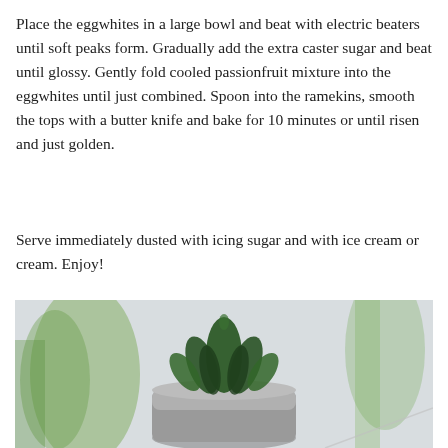Place the eggwhites in a large bowl and beat with electric beaters until soft peaks form. Gradually add the extra caster sugar and beat until glossy. Gently fold cooled passionfruit mixture into the eggwhites until just combined. Spoon into the ramekins, smooth the tops with a butter knife and bake for 10 minutes or until risen and just golden.
Serve immediately dusted with icing sugar and with ice cream or cream. Enjoy!
[Figure (photo): A close-up photo of a small dark green succulent plant in a grey concrete pot, with blurred green foliage in the background against a light grey/white backdrop.]